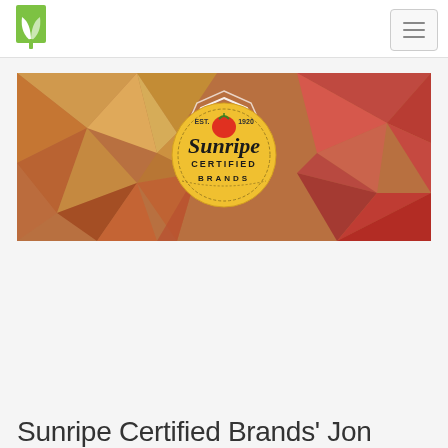[Figure (logo): Green plant/leaf logo icon in top left navigation bar]
[Figure (photo): Banner photo of tomatoes (red and yellow cherry tomatoes in trays) with a geometric low-poly overlay and a circular yellow badge in the center reading 'Sunripe Certified Brands EST. 1920' with a tomato illustration]
Sunripe Certified Brands' Jon